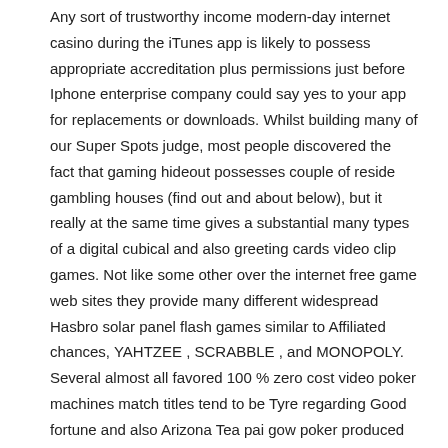Any sort of trustworthy income modern-day internet casino during the iTunes app is likely to possess appropriate accreditation plus permissions just before Iphone enterprise company could say yes to your app for replacements or downloads. Whilst building many of our Super Spots judge, most people discovered the fact that gaming hideout possesses couple of reside gambling houses (find out and about below), but it really at the same time gives a substantial many types of a digital cubical and also greeting cards video clip games. Not like some other over the internet free game web sites they provide many different widespread Hasbro solar panel flash games similar to Affiliated chances, YAHTZEE , SCRABBLE , and MONOPOLY. Several almost all favored 100 % zero cost video poker machines match titles tend to be Tyre regarding Good fortune and also Arizona Tea pai gow poker produced by IGT which inturn includes a stable action with more effective circumstances approximately 10 100 % zero cost re-writes meant for newbies.